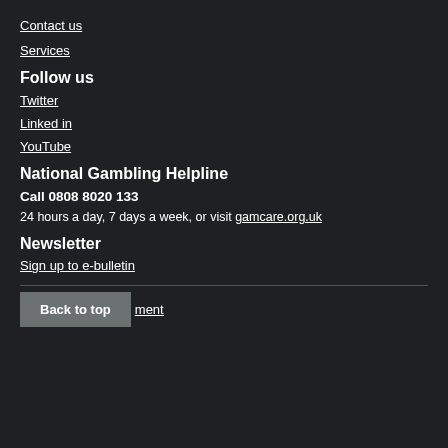Contact us
Services
Follow us
Twitter
Linked in
YouTube
National Gambling Helpline
Call 0808 8020 133
24 hours a day, 7 days a week, or visit gamcare.org.uk
Newsletter
Sign up to e-bulletin
Back to top
ment